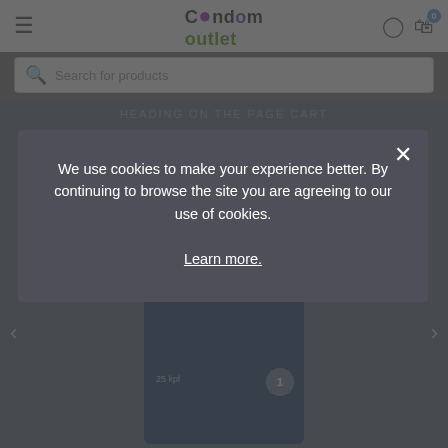[Figure (screenshot): Website header with hamburger menu, Condom Outlet logo, user icon, and cart icon with badge '0']
Search for products
[Figure (screenshot): Dimmed e-commerce product page background showing Sultan Contune product packaging in blue]
We use cookies to make your experience better. By continuing to browse the site you are agreeing to our use of cookies. Learn more.